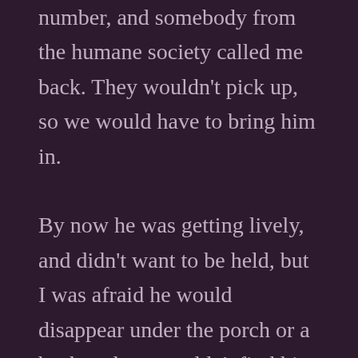number, and somebody from the humane society called me back. They wouldn't pick up, so we would have to bring him in.

By now he was getting lively, and didn't want to be held, but I was afraid he would disappear under the porch or a bush and we wouldn't find him again. When the dogs arrived the kitten stood on my shoulder and hissed and spit. Moses just looked puzzled. Pete and